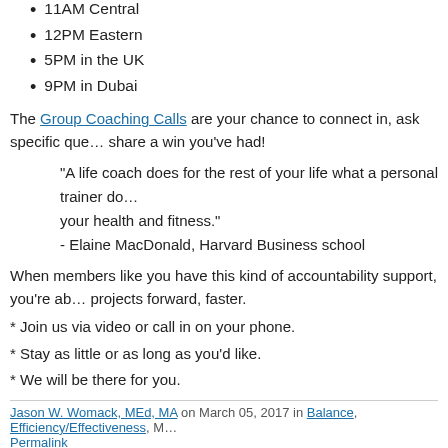11AM Central
12PM Eastern
5PM in the UK
9PM in Dubai
The Group Coaching Calls are your chance to connect in, ask specific que… share a win you've had!
"A life coach does for the rest of your life what a personal trainer do… your health and fitness."
- Elaine MacDonald, Harvard Business school
When members like you have this kind of accountability support, you're ab… projects forward, faster.
* Join us via video or call in on your phone.
* Stay as little or as long as you'd like.
* We will be there for you.
Jason W. Womack, MEd, MA on March 05, 2017 in Balance, Efficiency/Effectiveness, M… Permalink
Comments